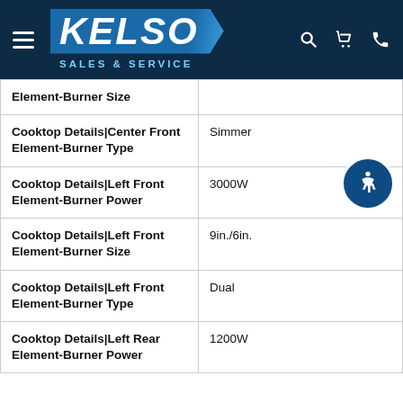KELSO SALES & SERVICE
| Attribute | Value |
| --- | --- |
| Element-Burner Size |  |
| Cooktop Details|Center Front Element-Burner Type | Simmer |
| Cooktop Details|Left Front Element-Burner Power | 3000W |
| Cooktop Details|Left Front Element-Burner Size | 9in./6in. |
| Cooktop Details|Left Front Element-Burner Type | Dual |
| Cooktop Details|Left Rear Element-Burner Power | 1200W |